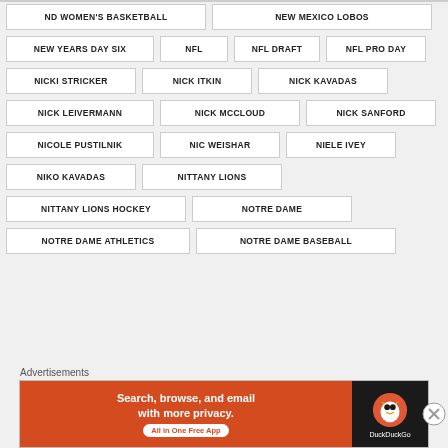ND WOMEN'S BASKETBALL
NEW MEXICO LOBOS
NEW YEARS DAY SIX
NFL
NFL DRAFT
NFL PRO DAY
NICKI STRICKER
NICK ITKIN
NICK KAVADAS
NICK LEIVERMANN
NICK MCCLOUD
NICK SANFORD
NICOLE PUSTILNIK
NIC WEISHAR
NIELE IVEY
NIKO KAVADAS
NITTANY LIONS
NITTANY LIONS HOCKEY
NOTRE DAME
NOTRE DAME ATHLETICS
NOTRE DAME BASEBALL
Advertisements
[Figure (infographic): DuckDuckGo advertisement banner: Search, browse, and email with more privacy. All in One Free App. DuckDuckGo logo on dark background.]